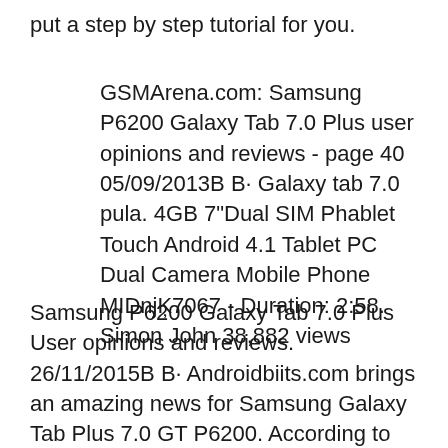put a step by step tutorial for you.
GSMArena.com: Samsung P6200 Galaxy Tab 7.0 Plus user opinions and reviews - page 40 05/09/2013B B· Galaxy tab 7.0 pula. 4GB 7"Dual SIM Phablet Touch Android 4.1 Tablet PC Dual Camera Mobile Phone MIDnjĶ7067 - Duration: 2:58. Simon John 38,882 views
Samsung P6200 Galaxy Tab 7.0 Plus User opinions and reviews. 26/11/2015B B· Androidbiits.com brings an amazing news for Samsung Galaxy Tab Plus 7.0 GT P6200. According to